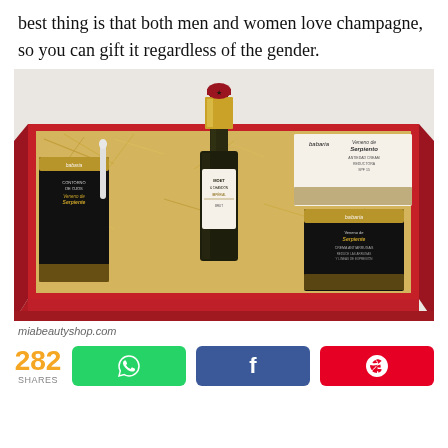best thing is that both men and women love champagne, so you can gift it regardless of the gender.
[Figure (photo): A red gift box filled with straw/shredded paper containing a Moet & Chandon champagne bottle and several Babaria Veneno de Serpiente (snake venom) cosmetic products including eye contour cream and anti-wrinkle cream.]
miabeautyshop.com
282 SHARES